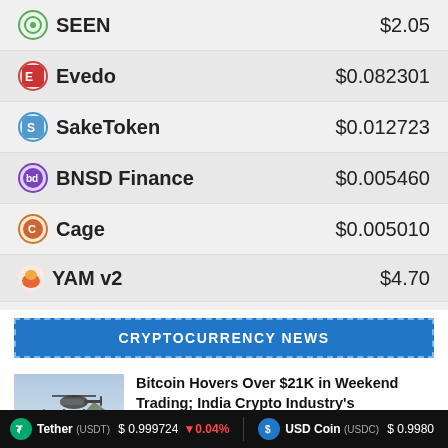| Coin | Price |
| --- | --- |
| SEEN | $2.05 |
| Evedo | $0.082301 |
| SakeToken | $0.012723 |
| BNSD Finance | $0.005460 |
| Cage | $0.005010 |
| YAM v2 | $4.70 |
| PolkaBridge | $0.439876 |
CRYPTOCURRENCY NEWS
[Figure (photo): Helicopter flying over mountainous terrain]
Bitcoin Hovers Over $21K in Weekend Trading; India Crypto Industry's Challenging Year
August 22, 2022
Tether (USDT) $0.999724 ▼0.04%   USD Coin (USDC) $0.9980